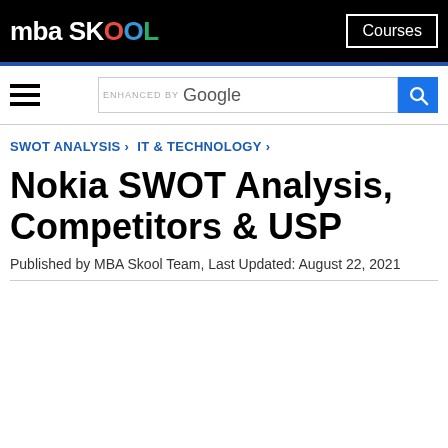mba SKOOL | Courses
SWOT ANALYSIS › IT & TECHNOLOGY ›
Nokia SWOT Analysis, Competitors & USP
Published by MBA Skool Team, Last Updated: August 22, 2021